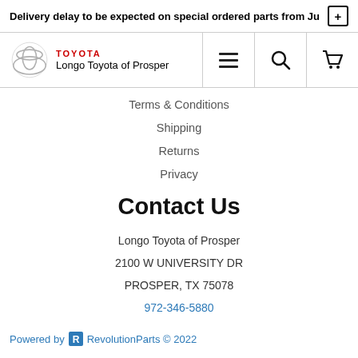Delivery delay to be expected on special ordered parts from Ju
[Figure (logo): Toyota logo with text 'Longo Toyota of Prosper' and navigation icons (hamburger menu, search, cart)]
Terms & Conditions
Shipping
Returns
Privacy
Contact Us
Longo Toyota of Prosper
2100 W UNIVERSITY DR
PROSPER, TX 75078
972-346-5880
Powered by RevolutionParts © 2022